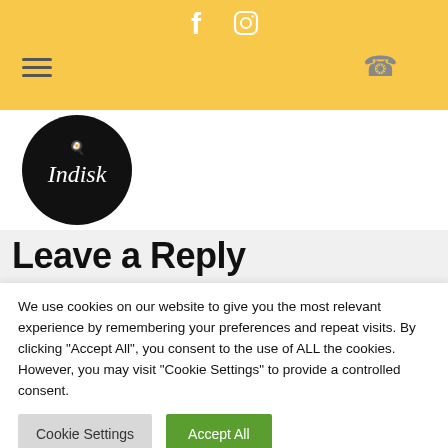Header bar with social icons (Facebook, Instagram), hamburger menu, and phone icon
[Figure (logo): Indisk restaurant logo — black circle with decorative icon and stylized 'Indisk' text in white italic font]
Leave a Reply
We use cookies on our website to give you the most relevant experience by remembering your preferences and repeat visits. By clicking "Accept All", you consent to the use of ALL the cookies. However, you may visit "Cookie Settings" to provide a controlled consent.
Cookie Settings | Accept All